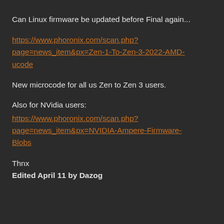Can Linux firmware be updated before Final again...
https://www.phoronix.com/scan.php?page=news_item&px=Zen-1-To-Zen-3-2022-AMD-ucode
New microcode for all us Zen to Zen 3 users.
Also for NVidia users:
https://www.phoronix.com/scan.php?page=news_item&px=NVIDIA-Ampere-Firmware-Blobs
Thnx
Edited April 11 by Dazog